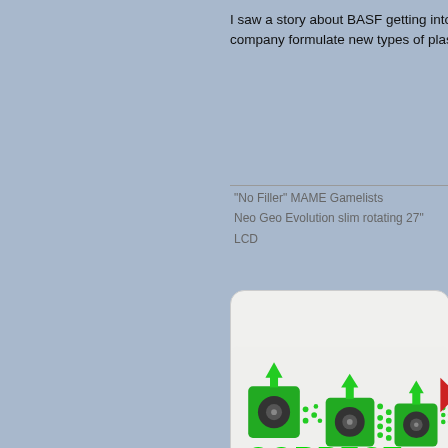I saw a story about BASF getting into filame... company formulate new types of plastic fro...
"No Filler" MAME Gamelists
Neo Geo Evolution slim rotating 27" LCD
[Figure (screenshot): Image showing 3D printer filament spools labeled CORRECT with green arrows and icons]
bobbyb13
Trade Count: (+2)
Full Member
Offline
Posts: 1555
Last login: Today at 01:40:13 pm
I believe I may need an intervention
Re: So ... 3d Printers....
« Reply #1145 on: January 24, 2022, 11:43:5...
It's all very cool stuff.
I would be an absolute menace if I had spa... 🙂
Relax, all right? My old man is a television repairm...